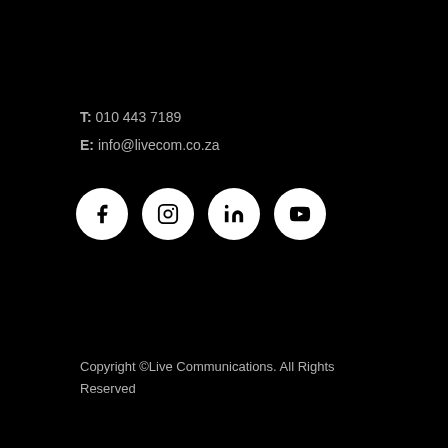T: 010 443 7189
E: info@livecom.co.za
[Figure (illustration): Four white circular social media icons in a row: Facebook, Instagram, LinkedIn, YouTube]
Copyright ©Live Communications. All Rights Reserved